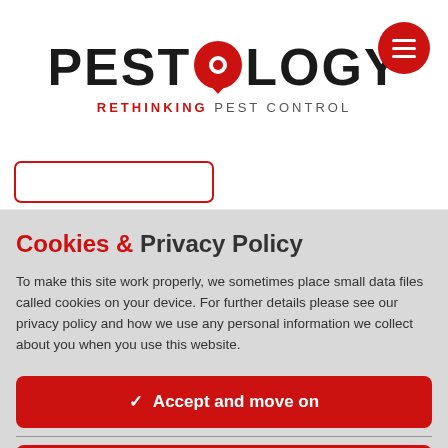[Figure (logo): Pestology logo with red speech bubble icon containing a red dot, text reading PESTOLOGY in bold black, and tagline RETHINKING PEST CONTROL in red and grey uppercase letters]
[Figure (other): Red circular hamburger menu button with three white horizontal lines]
[Figure (other): Partial red outlined rounded rectangle button visible at top of cookie banner area]
Cookies & Privacy Policy
To make this site work properly, we sometimes place small data files called cookies on your device. For further details please see our privacy policy and how we use any personal information we collect about you when you use this website.
✓  Accept and move on
Find out more  →